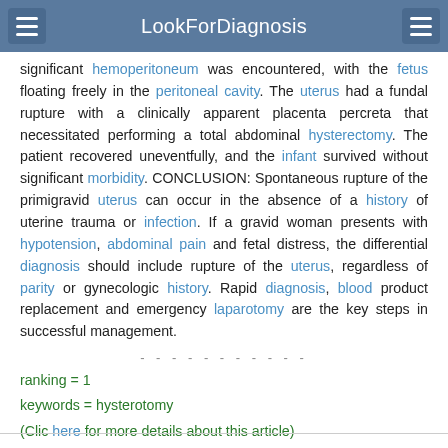LookForDiagnosis
significant hemoperitoneum was encountered, with the fetus floating freely in the peritoneal cavity. The uterus had a fundal rupture with a clinically apparent placenta percreta that necessitated performing a total abdominal hysterectomy. The patient recovered uneventfully, and the infant survived without significant morbidity. CONCLUSION: Spontaneous rupture of the primigravid uterus can occur in the absence of a history of uterine trauma or infection. If a gravid woman presents with hypotension, abdominal pain and fetal distress, the differential diagnosis should include rupture of the uterus, regardless of parity or gynecologic history. Rapid diagnosis, blood product replacement and emergency laparotomy are the key steps in successful management.
- - - - - - - - - - -
ranking = 1
keywords = hysterotomy
(Clic here for more details about this article)